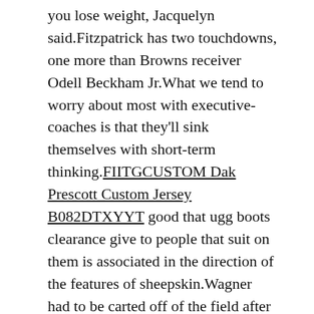you lose weight, Jacquelyn said.Fitzpatrick has two touchdowns, one more than Browns receiver Odell Beckham Jr.What we tend to worry about most with executive-coaches is that they'll sink themselves with short-term thinking.FIITGCUSTOM Dak Prescott Custom Jersey B082DTXYYT good that ugg boots clearance give to people that suit on them is associated in the direction of the features of sheepskin.Wagner had to be carted off of the field after suffering an injury.ESPN coverage culminates with the Women's and Men's Championships .
New England Patriots 28.Lionel Messi 3.He added four steals.